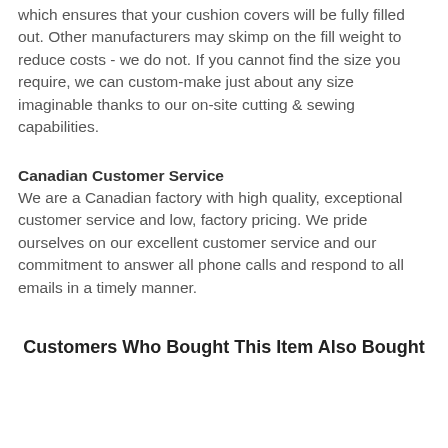which ensures that your cushion covers will be fully filled out. Other manufacturers may skimp on the fill weight to reduce costs - we do not. If you cannot find the size you require, we can custom-make just about any size imaginable thanks to our on-site cutting & sewing capabilities.
Canadian Customer Service
We are a Canadian factory with high quality, exceptional customer service and low, factory pricing. We pride ourselves on our excellent customer service and our commitment to answer all phone calls and respond to all emails in a timely manner.
Customers Who Bought This Item Also Bought